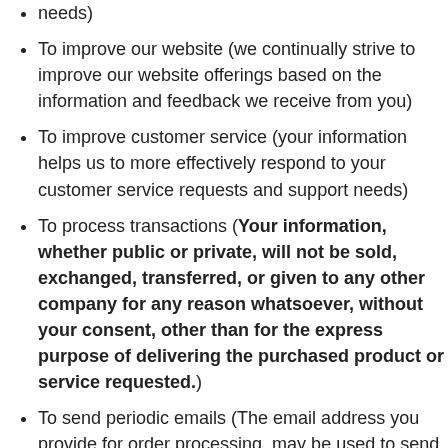needs)
To improve our website (we continually strive to improve our website offerings based on the information and feedback we receive from you)
To improve customer service (your information helps us to more effectively respond to your customer service requests and support needs)
To process transactions (Your information, whether public or private, will not be sold, exchanged, transferred, or given to any other company for any reason whatsoever, without your consent, other than for the express purpose of delivering the purchased product or service requested.)
To send periodic emails (The email address you provide for order processing, may be used to send you information and updates pertaining to your order, in addition to receiving occasional company news, updates, related product or